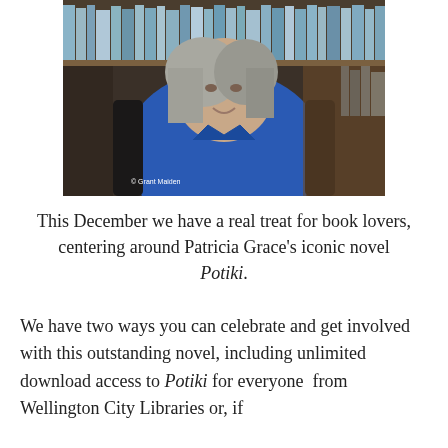[Figure (photo): Portrait of Patricia Grace, an older woman with long gray hair, wearing a blue shirt, seated in a leather chair with bookshelves behind her. Photo credit: © Grant Maiden]
This December we have a real treat for book lovers, centering around Patricia Grace's iconic novel Potiki.
We have two ways you can celebrate and get involved with this outstanding novel, including unlimited download access to Potiki for everyone from Wellington City Libraries or, if